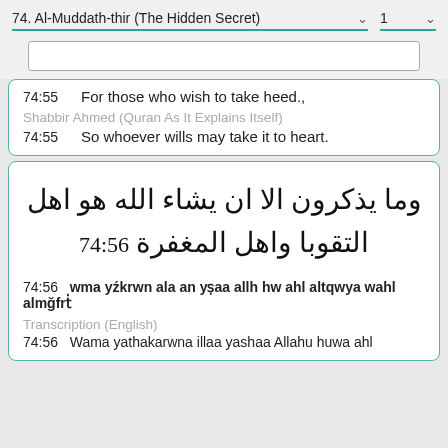74. Al-Muddath-thir (The Hidden Secret)  1
74:55  For those who wish to take heed.,
Shabbir Ahmed (Quran As It Explains Itself)
74:55  So whoever wills may take it to heart.
74:56 وما يذکرون الا ان يشاء الله هو اهل التقوبا واهل المغفرة
74:56  wma yźkrwn ala an yṣaa allh hw ahl altqwya wahl almğfrṫ
Transcription (English)
74:56  Wama yathakarwna illaa yashaa Allahu huwa ahl...